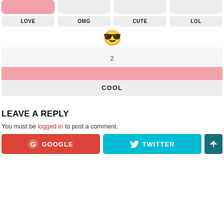[Figure (screenshot): Row of four reaction buttons: first is pink (no label visible), then OMG, CUTE, LOL in gray]
[Figure (screenshot): Cool face emoji with sunglasses]
[Figure (screenshot): Card with number 2, pink bar, and COOL button]
LEAVE A REPLY
You must be logged in to post a comment.
[Figure (screenshot): Google and Twitter login buttons, with a scroll-to-top button]